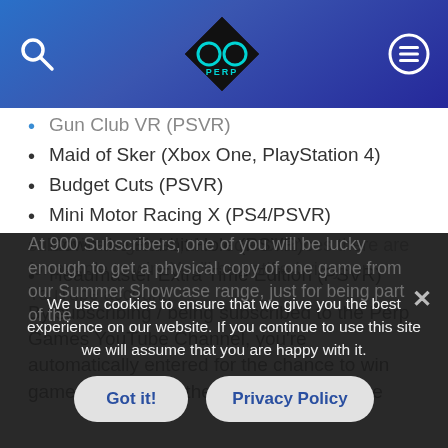Perp Games header with logo, search, and menu icons
Gun Club VR (PSVR)
Maid of Sker (Xbox One, PlayStation 4)
Budget Cuts (PSVR)
Mini Motor Racing X (PS4/PSVR)
Down the Rabbit Hole (PSVR)
Headmaster Extra Time Edition (PSVR)
By subscribing / being subscribed to the Perp Games YouTube Channel, you're automatically entered for the chance to win games featured in the event. But the more subscribers gained, the more chances there are for people to win. You'll be notified via your YouTube account.
At 900 Subscribers, one of you will be lucky enough to get a physical copy of one game from our Summer Showcase range, just for being part of the
We use cookies to ensure that we give you the best experience on our website. If you continue to use this site we will assume that you are happy with it.